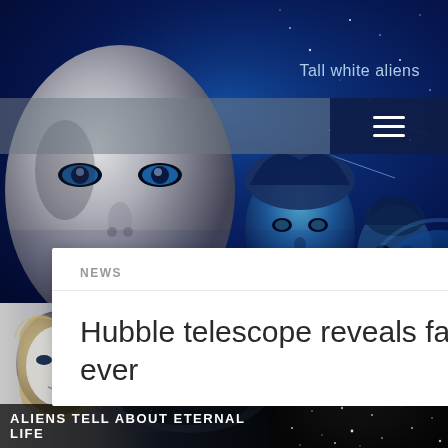[Figure (illustration): Hero banner with alien/humanoid faces against a dark blue space background with stars. A white bald alien face dominates the left side, two blue-tinted humanoid faces appear in the center and right.]
Tall white aliens
[Figure (infographic): Navigation bar with grey semi-transparent left section and dark navy right section containing a white hamburger menu icon (three horizontal lines).]
NEWS
Hubble telescope reveals farthest view into universe ever
[Figure (photo): Bottom-left image: greyscale photo of a blonde woman (alien figure) on the left merging into a darker fantasy/supernatural image with a reclining figure and mist. A small X close icon in the top right of this image.]
ALIENS TELL ABOUT ETERNAL LIFE
[Figure (photo): Bottom-right image: dark space/star field photograph showing numerous stars against black background.]